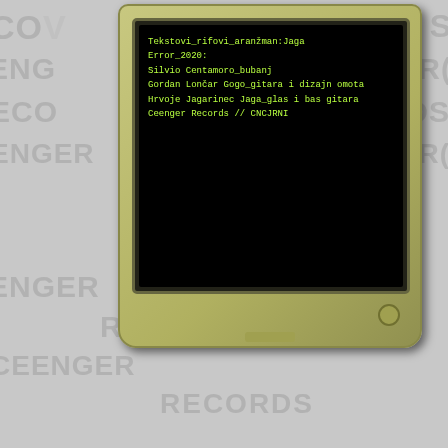[Figure (screenshot): A retro beige/olive CRT monitor displaying a black terminal screen with green text. The text reads: Tekstovi_rifovi_aranžman:Jaga / Error_2020: / Silvio Centamoro_bubanj / Gordan Lončar Gogo_gitara i dizajn omota / Hrvoje Jagarinec Jaga_glas i bas gitara / Ceenger Records // CNCJRNI. Behind the monitor is a watermark background with 'CEENGER RECORDS' repeated.]
[Figure (screenshot): Spotify music player widget showing album 'Thoughts Words Action'. Player controls with progress bar at 0:00. Track list: 1. Delicate Genius - Lawsuit Models (2:24), 2. Take Back Your Voice - Ten Foot Pole (3:58), 3. Moonlit Torture (feat. Dwid Hellion - Integrity) - Spiritworld, Integrity (4:34).]